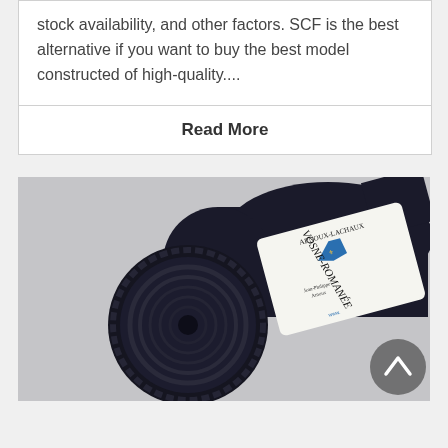stock availability, and other factors. SCF is the best alternative if you want to buy the best model constructed of high-quality....
Read More
[Figure (photo): Close-up photo of a dark wine bottle lying on its side, label reading 'Vosne-Romanee' with a blue crest/shield logo and 'Arnoux-Lachaux' text at top. The bottle bottom is visible showing concentric rings.]